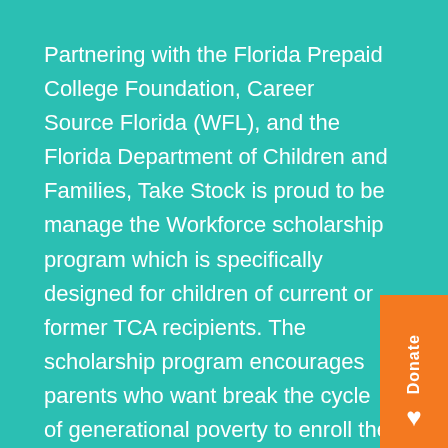Partnering with the Florida Prepaid College Foundation, Career Source Florida (WFL), and the Florida Department of Children and Families, Take Stock is proud to be manage the Workforce scholarship program which is specifically designed for children of current or former TCA recipients. The scholarship program encourages parents who want break the cycle of generational poverty to enroll the child in the Take Stock Workforce Scholarship prog that provides mentoring, college success coaching, and a Florida Prepaid Project STARS scholarship. Participation in the program encourages the parent(s) to comply with all work activity and behavioral requirements, and requires the children to remain in school, maintain a certain grade-point average, stay drug-free and crime-free, and avoid other risky